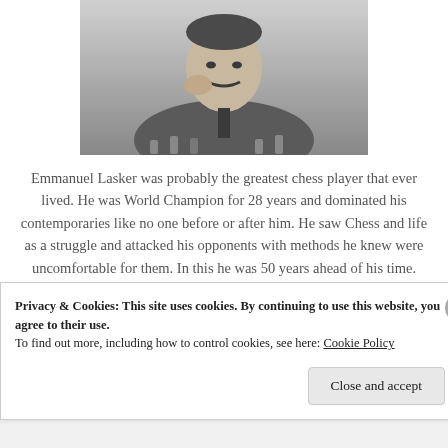[Figure (photo): Black and white photograph of Emmanuel Lasker, a man in a suit with a mustache, resting his hand near his face, with chess pieces visible in the foreground.]
Emmanuel Lasker was probably the greatest chess player that ever lived. He was World Champion for 28 years and dominated his contemporaries like no one before or after him. He saw Chess and life as a struggle and attacked his opponents with methods he knew were uncomfortable for them. In this he was 50 years ahead of his time.
Privacy & Cookies: This site uses cookies. By continuing to use this website, you agree to their use.
To find out more, including how to control cookies, see here: Cookie Policy